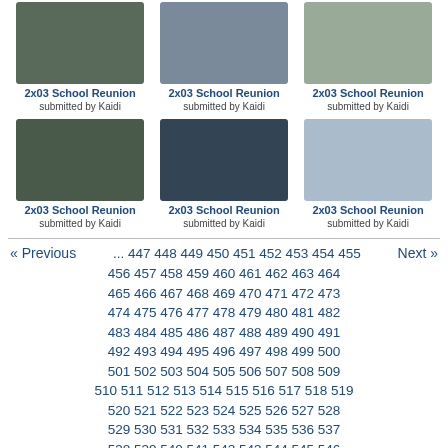[Figure (screenshot): Three video thumbnail images in a row for episode 2x03 School Reunion]
2x03 School Reunion
submitted by Kaidi
2x03 School Reunion
submitted by Kaidi
2x03 School Reunion
submitted by Kaidi
[Figure (screenshot): Three more video thumbnail images in a row for episode 2x03 School Reunion]
2x03 School Reunion
submitted by Kaidi
2x03 School Reunion
submitted by Kaidi
2x03 School Reunion
submitted by Kaidi
« Previous ... 447 448 449 450 451 452 453 454 455 Next » 456 457 458 459 460 461 462 463 464 465 466 467 468 469 470 471 472 473 474 475 476 477 478 479 480 481 482 483 484 485 486 487 488 489 490 491 492 493 494 495 496 497 498 499 500 501 502 503 504 505 506 507 508 509 510 511 512 513 514 515 516 517 518 519 520 521 522 523 524 525 526 527 528 529 530 531 532 533 534 535 536 537 538 539 540 541 542 543 544 545 546 547 548 549 550 551 552 553 554 555 556 557 558 559 560 561 562 563 564 565 566 567 568 569 570 571 572 573 574 575 576 577 578 579 580 581 582